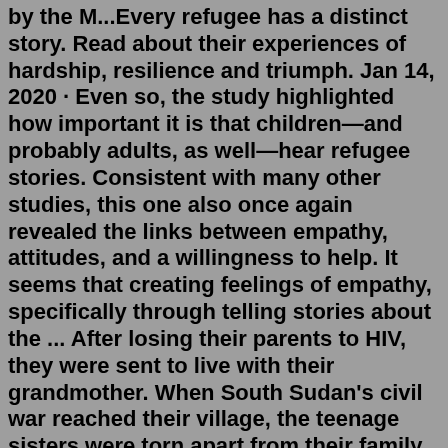by the M...Every refugee has a distinct story. Read about their experiences of hardship, resilience and triumph. Jan 14, 2020 · Even so, the study highlighted how important it is that children—and probably adults, as well—hear refugee stories. Consistent with many other studies, this one also once again revealed the links between empathy, attitudes, and a willingness to help. It seems that creating feelings of empathy, specifically through telling stories about the ... After losing their parents to HIV, they were sent to live with their grandmother. When South Sudan's civil war reached their village, the teenage sisters were torn apart from their family for the second time. "There were people shooting guns," said Joann. "They were looting houses and raping young girls.". Joann knew she and her 12 ...United Nations High Commissioner for Refugees Filippo Grandi speaks during an interview with The Associated Press at UNHCR headquarters in Geneva, Switzerland, Wednesday, Aug. 17, 2022.Jan 20, 2022 · January 19, 2022, 10:00 PM · 4 min read. Edwin Rigoberto